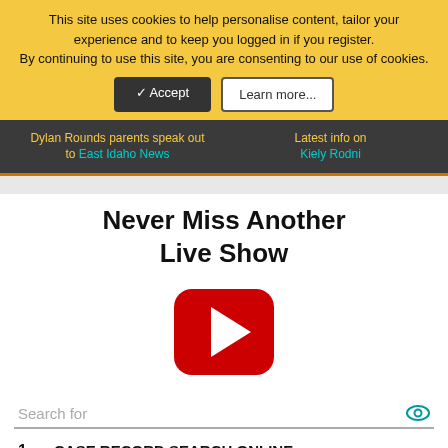This site uses cookies to help personalise content, tailor your experience and to keep you logged in if you register. By continuing to use this site, you are consenting to our use of cookies.
✓ Accept | Learn more...
Dylan Rounds parents speak out to East Idaho News | Latest info on Kiely Rodni
Never Miss Another Live Show
[Figure (logo): YouTube-style red play button icon]
Search for
1. CASE RECORD SEARCH ONLINE →
2. INMATE INFORMATION →